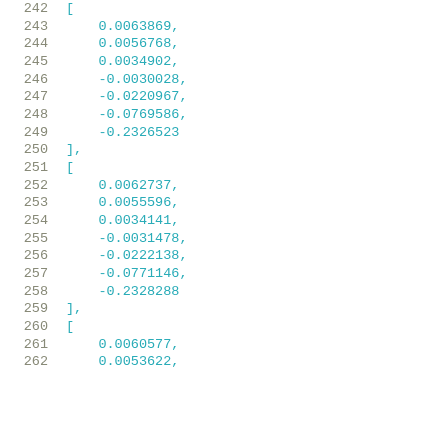Code listing showing lines 242-262 with numeric array data. Line numbers in gray-green, code values in teal/cyan.